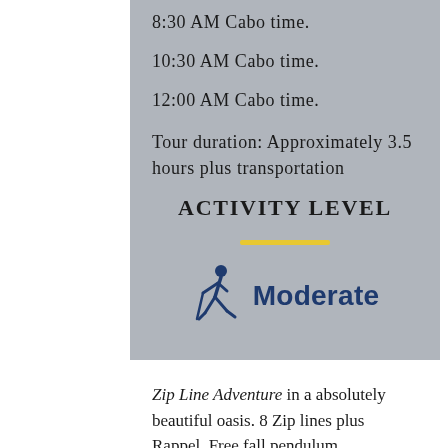8:30 AM Cabo time.
10:30 AM Cabo time.
12:00 AM Cabo time.
Tour duration: Approximately 3.5 hours plus transportation
ACTIVITY LEVEL
[Figure (illustration): A yellow horizontal line separator, followed by a hiker/walking figure icon in dark navy blue next to the word Moderate in dark navy blue bold text indicating moderate activity level]
Zip Line Adventure in a absolutely beautiful oasis. 8 Zip lines plus Rappel. Free fall pendulum.